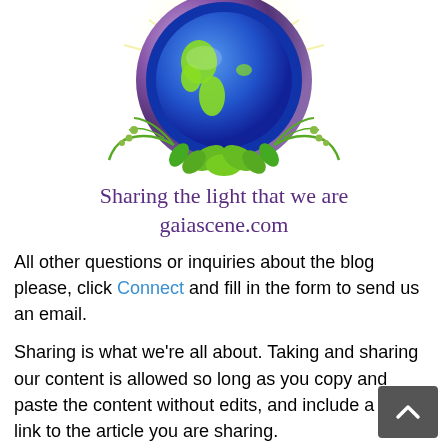[Figure (illustration): Stylized globe illustration with blue Earth showing North and South America, surrounded by a purple metallic ring, yellow rays of light behind, green decorative vines and leaves at bottom]
Sharing the light that we are
gaiascene.com
All other questions or inquiries about the blog please, click Connect and fill in the form to send us an email.
Sharing is what we're all about. Taking and sharing our content is allowed so long as you copy and paste the content without edits, and include a live link to the article you are sharing.